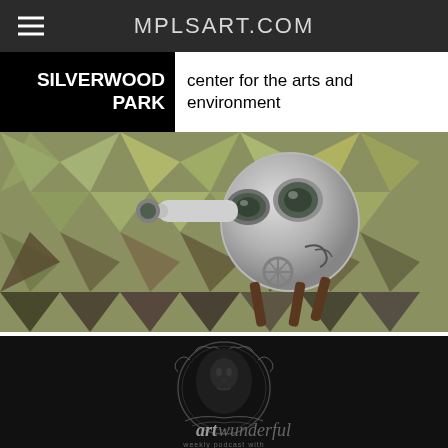MPLSART.COM
[Figure (screenshot): Silverwood Park center for the arts and environment logo header with black background, white bold text on left side and dark text on white right side]
[Figure (photo): A metallic spherical robot sculpture with circular eye-like lenses and telescopic arm, set against a geometric mirrored triangular background in greens and golds]
[Figure (photo): Artwunderful weekly podcast logo: dark circular badge with a shadowy portrait face and ornate decorative border, text reads 'art wunderful weekly podcast with']